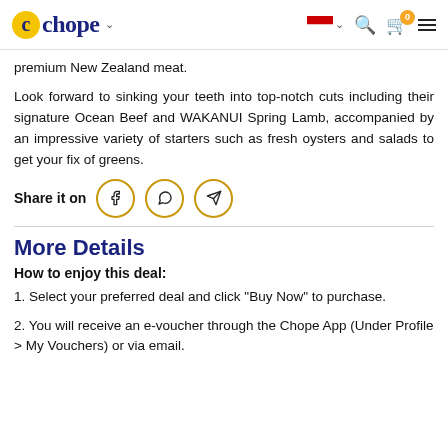Chope navigation header
premium New Zealand meat.
Look forward to sinking your teeth into top-notch cuts including their signature Ocean Beef and WAKANUI Spring Lamb, accompanied by an impressive variety of starters such as fresh oysters and salads to get your fix of greens.
Share it on
More Details
How to enjoy this deal:
1. Select your preferred deal and click "Buy Now" to purchase.
2. You will receive an e-voucher through the Chope App (Under Profile > My Vouchers) or via email.